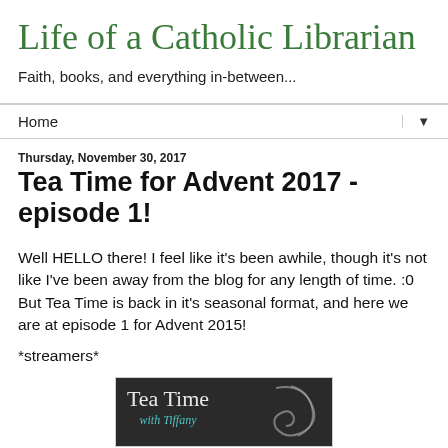Life of a Catholic Librarian
Faith, books, and everything in-between...
Home
Thursday, November 30, 2017
Tea Time for Advent 2017 - episode 1!
Well HELLO there! I feel like it's been awhile, though it's not like I've been away from the blog for any length of time. :0 But Tea Time is back in it's seasonal format, and here we are at episode 1 for Advent 2015!
*streamers*
[Figure (photo): Tea Time with Tiffany podcast logo on dark background with decorative swirl]